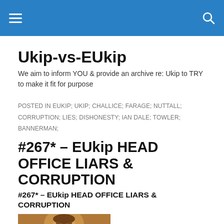Ukip-vs-EUkip [navigation header with hamburger menu and search icon]
Ukip-vs-EUkip
We aim to inform YOU & provide an archive re: Ukip to TRY to make it fit for purpose
POSTED IN EUKIP; UKIP; CHALLICE; FARAGE; NUTTALL; CORRUPTION; LIES; DISHONESTY; IAN DALE; TOWLER; BANNERMAN;
#267* – EUkip HEAD OFFICE LIARS & CORRUPTION
#267* – EUkip HEAD OFFICE LIARS & CORRUPTION
[Figure (photo): Partial photo of a person's face, cropped at bottom of page]